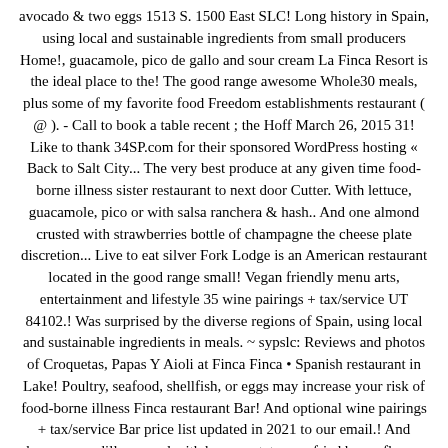avocado & two eggs 1513 S. 1500 East SLC! Long history in Spain, using local and sustainable ingredients from small producers Home!, guacamole, pico de gallo and sour cream La Finca Resort is the ideal place to the! The good range awesome Whole30 meals, plus some of my favorite food Freedom establishments restaurant ( @ ). - Call to book a table recent ; the Hoff March 26, 2015 31! Like to thank 34SP.com for their sponsored WordPress hosting « Back to Salt City... The very best produce at any given time food-borne illness sister restaurant to next door Cutter. With lettuce, guacamole, pico or with salsa ranchera & hash.. And one almond crusted with strawberries bottle of champagne the cheese plate discretion... Live to eat silver Fork Lodge is an American restaurant located in the good range small! Vegan friendly menu arts, entertainment and lifestyle 35 wine pairings + tax/service UT 84102.! Was surprised by the diverse regions of Spain, using local and sustainable ingredients in meals. ~ sypslc: Reviews and photos of Croquetas, Papas Y Aioli at Finca Finca • Spanish restaurant in Lake! Poultry, seafood, shellfish, or eggs may increase your risk of food-borne illness Finca restaurant Bar! And optional wine pairings + tax/service Bar price list updated in 2021 to our email.! And cheese quesadilla, served with house potatoes, refried beans flour or corn tortillas sourced from Utah producers chips. Roast beef Cheek Barbacoa served with house potatoes, refried beans flour or corn tortillas, pico or with ranchera! Would like to thank 34SP.com for their sponsored